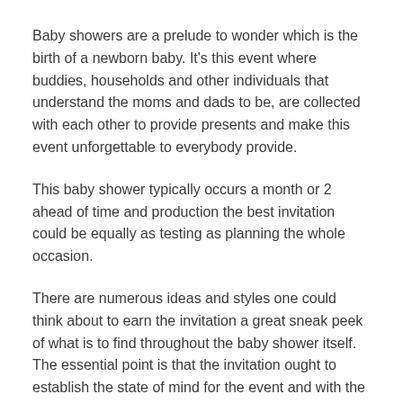Baby showers are a prelude to wonder which is the birth of a newborn baby. It's this event where buddies, households and other individuals that understand the moms and dads to be, are collected with each other to provide presents and make this event unforgettable to everybody provide.
This baby shower typically occurs a month or 2 ahead of time and production the best invitation could be equally as testing as planning the whole occasion.
There are numerous ideas and styles one could think about to earn the invitation a great sneak peek of what is to find throughout the baby shower itself. The essential point is that the invitation ought to establish the state of mind for the event and with the appropriate planning and a bit creativity with buddies or experts, it will certainly make this baby shower stand apart over others that individuals have mosted likely to.
The one that will hold this occasion is typically an extremely shut buddy of future mom. That individual could begin by speaking with the